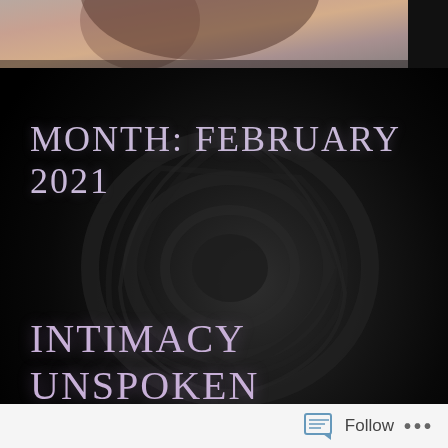[Figure (photo): Partial photo of a person at the top, cropped, warm tones]
[Figure (photo): Large dark black rose flower filling the background, dramatic black and dark grey tones]
MONTH: FEBRUARY 2021
INTIMACY UNSPOKEN
February 28, 2021
Passionate Pen
Leave a comment
If only I could touch her face
Follow